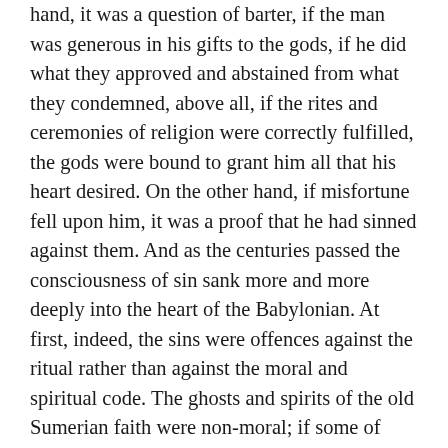hand, it was a question of barter, if the man was generous in his gifts to the gods, if he did what they approved and abstained from what they condemned, above all, if the rites and ceremonies of religion were correctly fulfilled, the gods were bound to grant him all that his heart desired. On the other hand, if misfortune fell upon him, it was a proof that he had sinned against them. And as the centuries passed the consciousness of sin sank more and more deeply into the heart of the Babylonian. At first, indeed, the sins were offences against the ritual rather than against the moral and spiritual code. The ghosts and spirits of the old Sumerian faith were non-moral; if some of them inflicted pain and disease upon man, it was because it was their nature to do so, and the only defence against them was in the charms of the sorcerer. But with the arrival of the Semite, and the consequent transformation of the goblin into a god and of the sorcerer into a priest, a new conception